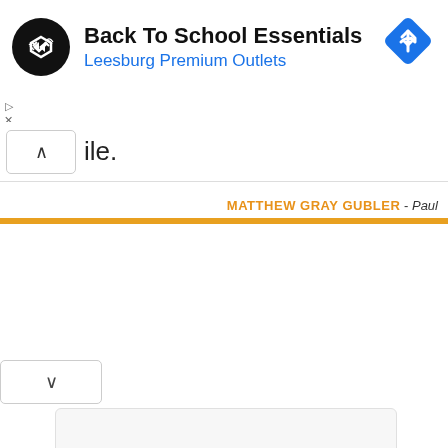[Figure (screenshot): Advertisement banner for Back To School Essentials at Leesburg Premium Outlets with logo and navigation icon]
ile.
MATTHEW GRAY GUBLER - Paul
[Figure (screenshot): Bottom card/panel element partially visible]